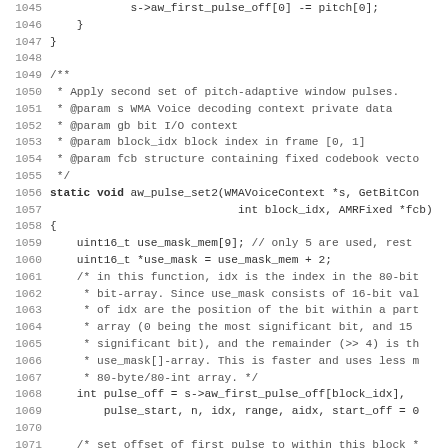[Figure (screenshot): Source code listing in C showing lines 1045-1077 of a WMA Voice codec file. The code includes a function comment block and the beginning of aw_pulse_set2 function implementation dealing with pitch-adaptive window pulses.]